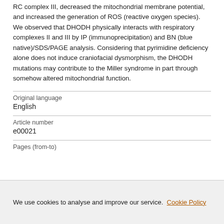RC complex III, decreased the mitochondrial membrane potential, and increased the generation of ROS (reactive oxygen species). We observed that DHODH physically interacts with respiratory complexes II and III by IP (immunoprecipitation) and BN (blue native)/SDS/PAGE analysis. Considering that pyrimidine deficiency alone does not induce craniofacial dysmorphism, the DHODH mutations may contribute to the Miller syndrome in part through somehow altered mitochondrial function.
| Original language | English |
| Article number | e00021 |
| Pages (from-to) |  |
We use cookies to analyse and improve our service. Cookie Policy